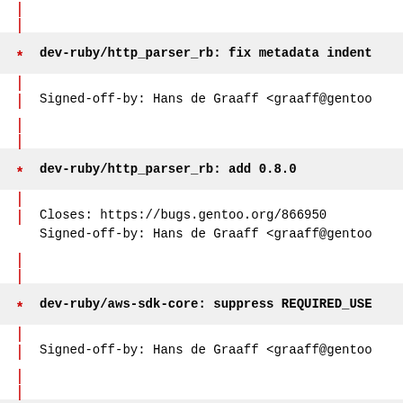* dev-ruby/http_parser_rb: fix metadata indenta
| Signed-off-by: Hans de Graaff <graaff@gentoo
* dev-ruby/http_parser_rb: add 0.8.0
| Closes: https://bugs.gentoo.org/866950
| Signed-off-by: Hans de Graaff <graaff@gentoo
* dev-ruby/aws-sdk-core: suppress REQUIRED_USE
| Signed-off-by: Hans de Graaff <graaff@gentoo
* dev-ruby/aws-sdk-resources: suppress REQUIRE
| Signed-off-by: Hans de Graaff <graaff@gentoo